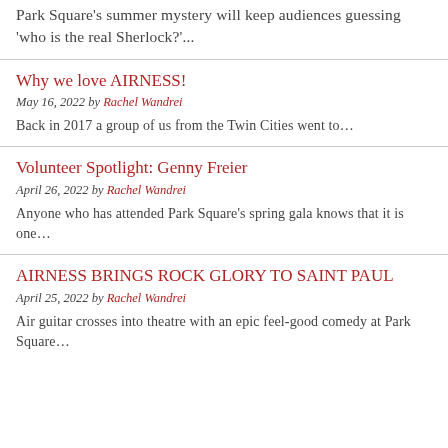Park Square's summer mystery will keep audiences guessing 'who is the real Sherlock?'...
Why we love AIRNESS!
May 16, 2022 by Rachel Wandrei
Back in 2017 a group of us from the Twin Cities went to…
Volunteer Spotlight: Genny Freier
April 26, 2022 by Rachel Wandrei
Anyone who has attended Park Square's spring gala knows that it is one…
AIRNESS BRINGS ROCK GLORY TO SAINT PAUL
April 25, 2022 by Rachel Wandrei
Air guitar crosses into theatre with an epic feel-good comedy at Park Square…